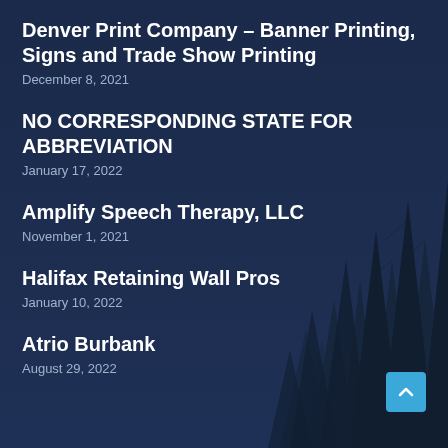Denver Print Company – Banner Printing, Signs and Trade Show Printing
December 8, 2021
NO CORRESPONDING STATE FOR ABBREVIATION
January 17, 2022
Amplify Speech Therapy, LLC
November 1, 2021
Halifax Retaining Wall Pros
January 10, 2022
Atrio Burbank
August 29, 2022